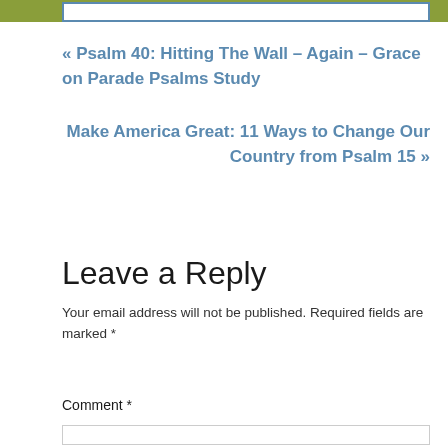[Figure (other): Top bar with olive/green background and white input box with blue border]
« Psalm 40: Hitting The Wall – Again – Grace on Parade Psalms Study
Make America Great: 11 Ways to Change Our Country from Psalm 15 »
Leave a Reply
Your email address will not be published. Required fields are marked *
Comment *